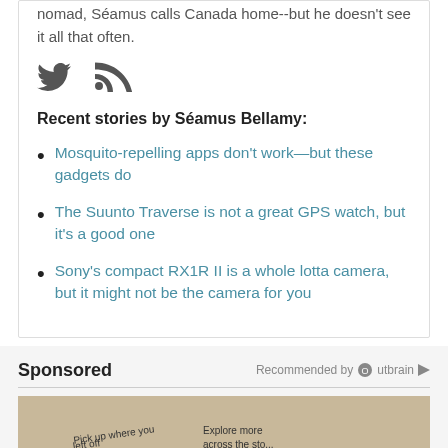nomad, Séamus calls Canada home--but he doesn't see it all that often.
[Figure (illustration): Twitter bird icon and RSS feed icon in dark gray]
Recent stories by Séamus Bellamy:
Mosquito-repelling apps don't work—but these gadgets do
The Suunto Traverse is not a great GPS watch, but it's a good one
Sony's compact RX1R II is a whole lotta camera, but it might not be the camera for you
Sponsored
Recommended by Outbrain
[Figure (screenshot): Sponsored content image showing tablets/devices with text snippets on warm background]